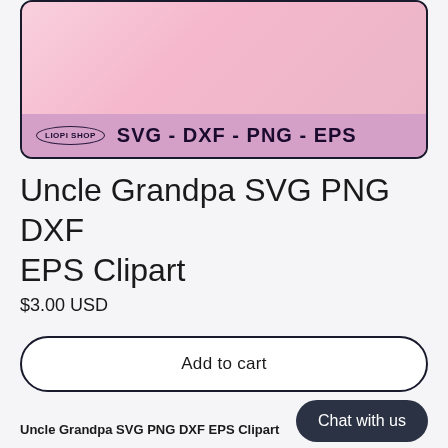[Figure (illustration): Product listing image showing a pink background clipart preview with a purple/mauve footer bar containing LIOPI SHOP badge logo and text 'SVG - DXF - PNG - EPS' in dark bold font, all inside a rounded rectangle border.]
Uncle Grandpa SVG PNG DXF EPS Clipart
$3.00 USD
Add to cart
Chat with us
Uncle Grandpa SVG PNG DXF EPS Clipart